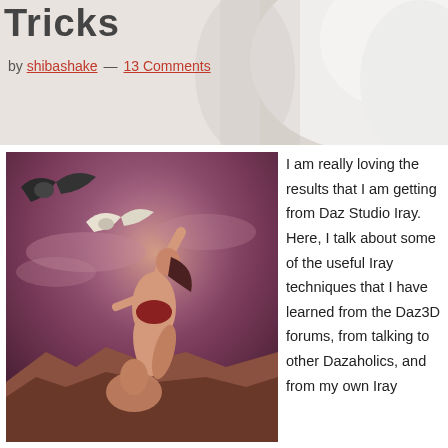[Figure (photo): Top background showing a white sculptural or architectural form against a light background — partial crop]
Tricks
by shibashake — 13 Comments
[Figure (photo): Digital art image of a woman in a dramatic pose reaching upward toward a bird in flight, set against a purple/mauve sky with rocky terrain below, fantasy/CG style]
I am really loving the results that I am getting from Daz Studio Iray. Here, I talk about some of the useful Iray techniques that I have learned from the Daz3D forums, from talking to other Dazaholics, and from my own Iray